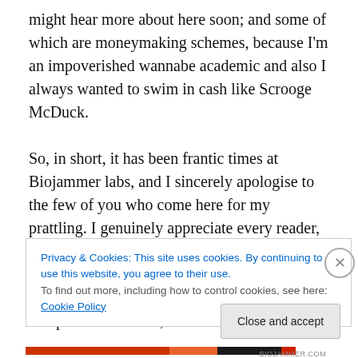might hear more about here soon; and some of which are moneymaking schemes, because I'm an impoverished wannabe academic and also I always wanted to swim in cash like Scrooge McDuck.

So, in short, it has been frantic times at Biojammer labs, and I sincerely apologise to the few of you who come here for my prattling. I genuinely appreciate every reader, and I always like having a banter about whatever gibberish I'm currently spouting. I'm just putting together something on morality and pharmaceuticals, which as it happens is
Privacy & Cookies: This site uses cookies. By continuing to use this website, you agree to their use.
To find out more, including how to control cookies, see here: Cookie Policy
Close and accept